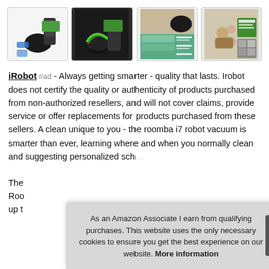[Figure (photo): Four product thumbnail images of iRobot Roomba i7 robot vacuum showing the robot, its dock, lifestyle photos, and feature infographic]
iRobot #ad - Always getting smarter - quality that lasts. Irobot does not certify the quality or authenticity of products purchased from non-authorized resellers, and will not cover claims, provide service or offer replacements for products purchased from these sellers. A clean unique to you - the roomba i7 robot vacuum is smarter than ever, learning where and when you normally clean and suggesting personalized schedules. The... Roo... up t...
As an Amazon Associate I earn from qualifying purchases. This website uses the only necessary cookies to ensure you get the best experience on our website. More information